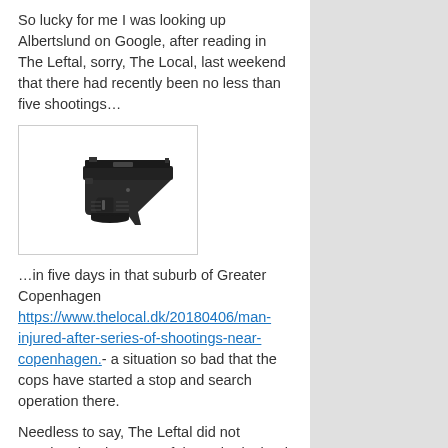So lucky for me I was looking up Albertslund on Google, after reading in The Leftal, sorry, The Local, last weekend that there had recently been no less than five shootings…
[Figure (photo): Photo of a black semi-automatic handgun (pistol) against a white background, inside a bordered box.]
…in five days in that suburb of Greater Copenhagen https://www.thelocal.dk/20180406/man-injured-after-series-of-shootings-near-copenhagen.- a situation so bad that the cops have started a stop and search operation there.
Needless to say, The Leftal did not mention the character of the 'suburb,' but it struck me as highly likely that it might be infested with aliens.
And sure enough.